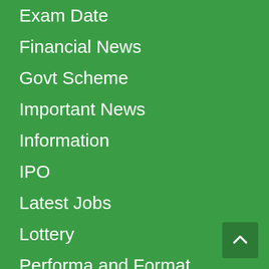Exam Date
Financial News
Govt Scheme
Important News
Information
IPO
Latest Jobs
Lottery
Performa and Format
Result
salary
Scholarship
Sports
Study Material